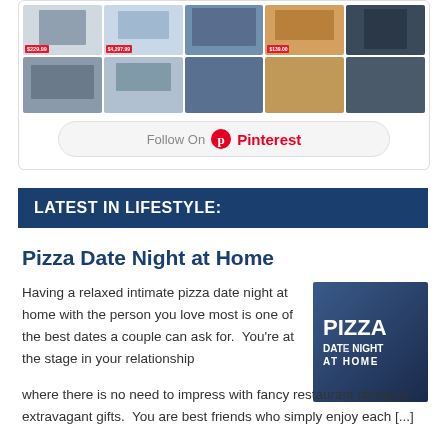[Figure (screenshot): Pinterest widget showing product pin images including monitors, Samsung TV, and other electronics with prices like $229.99, $4,297.99, $139.00, and a Follow On Pinterest button]
LATEST IN LIFESTYLE:
Pizza Date Night at Home
[Figure (photo): Thumbnail image showing a couple with pizza text overlay reading PIZZA DATE NIGHT AT HOME]
Having a relaxed intimate pizza date night at home with the person you love most is one of the best dates a couple can ask for.  You're at the stage in your relationship where there is no need to impress with fancy restaurant dining or extravagant gifts.  You are best friends who simply enjoy each [...]